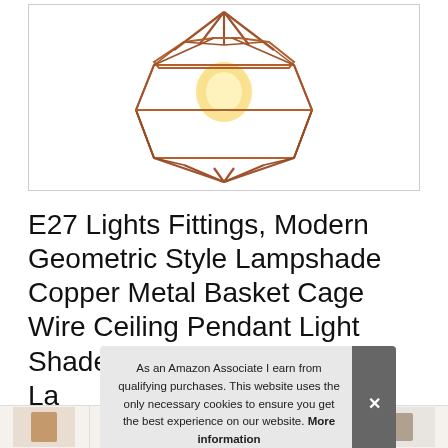[Figure (photo): Copper geometric wire cage pendant lamp shade with Edison bulb inside, shown against white background with light border]
E27 Lights Fittings, Modern Geometric Style Lampshade Copper Metal Basket Cage Wire Ceiling Pendant Light Shade La La
As an Amazon Associate I earn from qualifying purchases. This website uses the only necessary cookies to ensure you get the best experience on our website. More information
[Figure (photo): Thumbnail strip of product variant images at the bottom of the page]